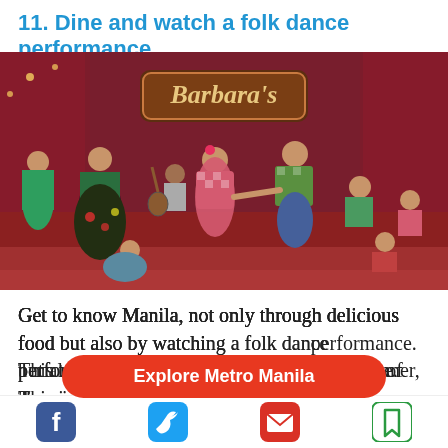11. Dine and watch a folk dance performance
[Figure (photo): Philippine folk dancers performing on a stage at Barbara's restaurant. Two central dancers in traditional Filipino attire are holding hands and dancing, surrounded by other performers in colorful costumes including green and floral dresses. A live band plays in the background beneath the Barbara's restaurant sign.]
Get to know Manila, not only through delicious food but also by watching a folk dance performance. This tour will kick off with a dinner, done in the style of "barrio fiesta", meaning community celebration, with Filipino food and at least
[Figure (other): Red oval button with white text reading 'Explore Metro Manila']
[Figure (other): Social media sharing icons bar: Facebook, Twitter, Email, Bookmark]